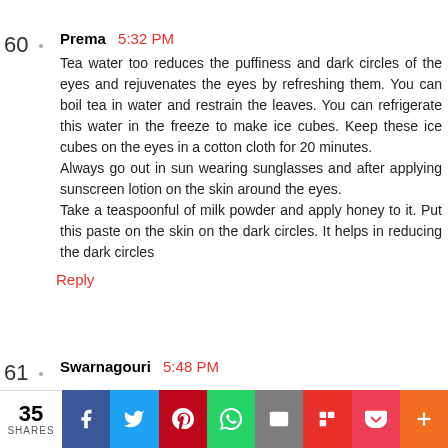60  Prema 5:32 PM
Tea water too reduces the puffiness and dark circles of the eyes and rejuvenates the eyes by refreshing them. You can boil tea in water and restrain the leaves. You can refrigerate this water in the freeze to make ice cubes. Keep these ice cubes on the eyes in a cotton cloth for 20 minutes.
Always go out in sun wearing sunglasses and after applying sunscreen lotion on the skin around the eyes.
Take a teaspoonful of milk powder and apply honey to it. Put this paste on the skin on the dark circles. It helps in reducing the dark circles
Reply
61  Swarnagouri 5:48 PM
35 SHARES